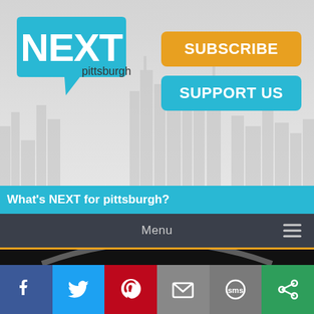[Figure (screenshot): NEXTpittsburgh website header with logo, Subscribe and Support Us buttons, tagline bar, menu bar, Grist House Brewing photo, and social share icons]
What's NEXT for pittsburgh?
Menu
[Figure (photo): Close-up photo of Grist House Brewing sign with decorative lettering on dark background]